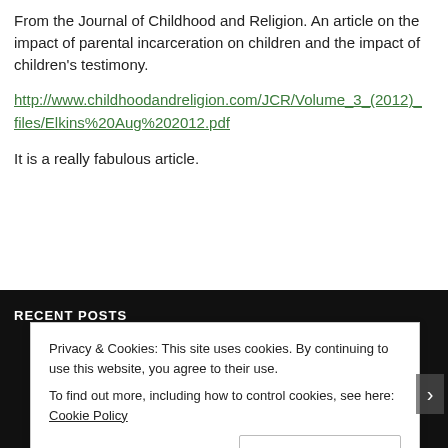From the Journal of Childhood and Religion. An article on the impact of parental incarceration on children and the impact of children's testimony.
http://www.childhoodandreligion.com/JCR/Volume_3_(2012)_files/Elkins%20Aug%202012.pdf
It is a really fabulous article.
RECENT POSTS
Privacy & Cookies: This site uses cookies. By continuing to use this website, you agree to their use.
To find out more, including how to control cookies, see here: Cookie Policy
Close and accept